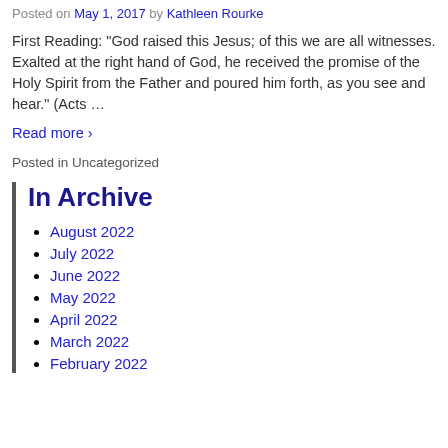Posted on May 1, 2017 by Kathleen Rourke
First Reading: "God raised this Jesus; of this we are all witnesses. Exalted at the right hand of God, he received the promise of the Holy Spirit from the Father and poured him forth, as you see and hear." (Acts ...
Read more ›
Posted in Uncategorized
In Archive
August 2022
July 2022
June 2022
May 2022
April 2022
March 2022
February 2022